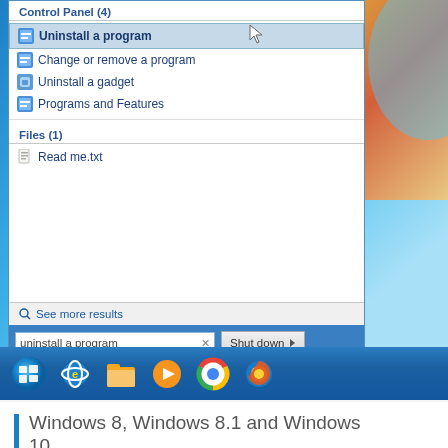[Figure (screenshot): Windows 7 Start Menu search showing 'uninstall a program' query results. Control Panel section shows 4 results: 'Uninstall a program' (highlighted), 'Change or remove a program', 'Uninstall a gadget', 'Programs and Features'. Files section shows 1 result: 'Read me.txt'. Bottom has 'See more results' link and search bar with 'uninstall a program' text and 'Shut down' button. Taskbar visible at bottom with Windows logo, IE, folder, media player, Chrome, Firefox icons.]
Windows 8, Windows 8.1 and Windows 10